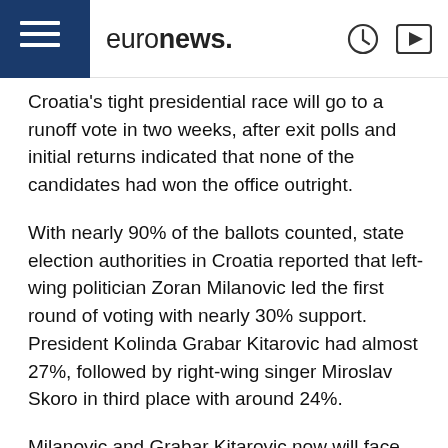euronews.
Croatia's tight presidential race will go to a runoff vote in two weeks, after exit polls and initial returns indicated that none of the candidates had won the office outright.
With nearly 90% of the ballots counted, state election authorities in Croatia reported that left-wing politician Zoran Milanovic led the first round of voting with nearly 30% support. President Kolinda Grabar Kitarovic had almost 27%, followed by right-wing singer Miroslav Skoro in third place with around 24%.
Milanovic and Grabar Kitarovic now will face each other in a second round of voting Jan. 5.
As polls closed on Sunday evening, election authorities said turnout was higher than during the last election in